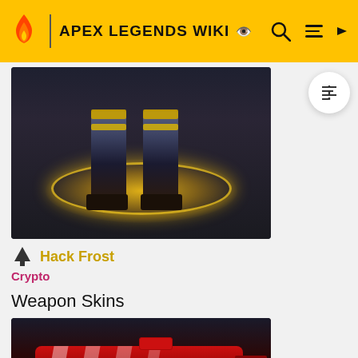APEX LEGENDS WIKI
[Figure (screenshot): Apex Legends character Crypto wearing Hack Frost skin, showing legs with blue/gold armor standing on a glowing golden circle]
🌲 Hack Frost
Crypto
Weapon Skins
[Figure (screenshot): R-99 SMG weapon with Sugar Rush skin - red and white candy cane stripe pattern on a dark background]
🌲 Sugar Rush
R-99 SMG